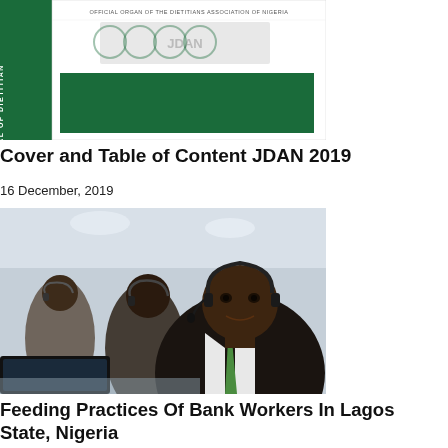[Figure (photo): Journal cover of JDAN (Journal of Dietitians Association of Nigeria) 2019 showing green spine with text, white cover with circular logos and green bar, and text 'Official Organ of the Dietitians Association of Nigeria']
Cover and Table of Content JDAN 2019
16 December, 2019
[Figure (photo): Photo of African bank workers wearing headsets sitting at computer workstations in a call center or office environment. Foreground shows a man in a suit with a green tie wearing a headset, smiling slightly. Behind him are two other workers also wearing headsets.]
Feeding Practices Of Bank Workers In Lagos State, Nigeria